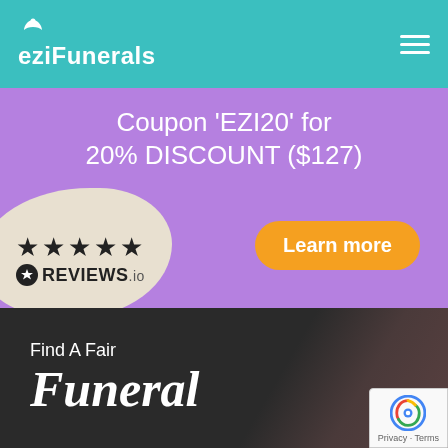eziFunerals
[Figure (screenshot): Purple promotional banner with text: Coupon 'EZI20' for 20% DISCOUNT ($127), five black stars, REVIEWS.io logo, and an orange 'Learn more' button]
[Figure (screenshot): Dark hero section with text 'Find A Fair' and large italic 'Funeral' text, reCAPTCHA badge in bottom right corner]